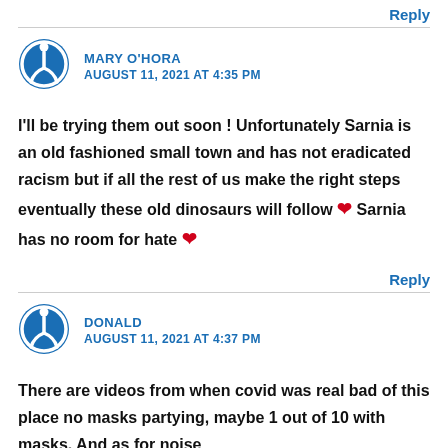Reply
MARY O'HORA
AUGUST 11, 2021 AT 4:35 PM
I'll be trying them out soon ! Unfortunately Sarnia is an old fashioned small town and has not eradicated racism but if all the rest of us make the right steps eventually these old dinosaurs will follow ❤ Sarnia has no room for hate ❤
Reply
DONALD
AUGUST 11, 2021 AT 4:37 PM
There are videos from when covid was real bad of this place no masks partying, maybe 1 out of 10 with masks. And as for noise